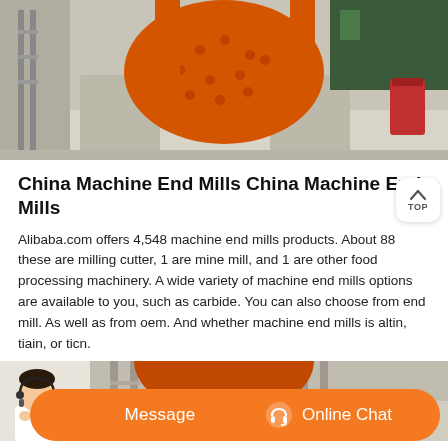[Figure (photo): Industrial ball mill machine with large orange rotating drum on concrete foundation inside a factory/mining facility]
China Machine End Mills China Machine End Mills
Alibaba.com offers 4,548 machine end mills products. About 88 these are milling cutter, 1 are mine mill, and 1 are other food processing machinery. A wide variety of machine end mills options are available to you, such as carbide. You can also choose from end mill. As well as from oem. And whether machine end mills is altin, tiain, or ticn.
[Figure (photo): Bottom section showing industrial machinery with an orange chat bar overlay containing Message and Online Chat buttons, and a customer service agent photo on the left]